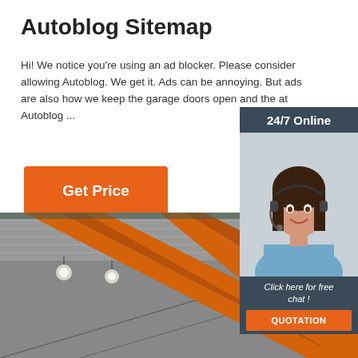Autoblog Sitemap
Hi! We notice you're using an ad blocker. Please consider allowing Autoblog. We get it. Ads can be annoying. But ads are also how we keep the garage doors open and the at Autoblog ...
[Figure (other): Orange button labeled 'Get Price']
[Figure (other): Ad widget overlay: '24/7 Online' header, photo of a woman wearing a headset, text 'Click here for free chat!', orange button labeled 'QUOTATION']
[Figure (photo): Industrial interior photo showing orange overhead crane beams and metal ceiling structure]